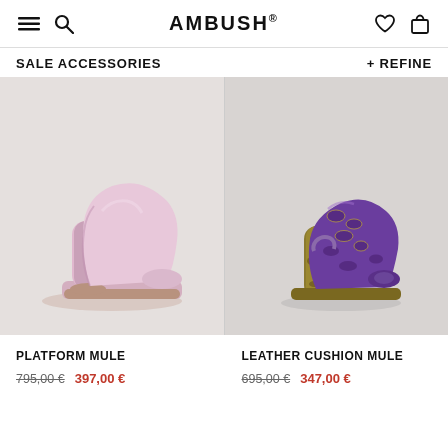AMBUSH®
SALE ACCESSORIES
+ REFINE
[Figure (photo): Pink platform mule heel shoe on light grey background]
[Figure (photo): Purple and snake-print leather cushion mule heel shoe on light grey background]
PLATFORM MULE 795,00 € 397,00 €
LEATHER CUSHION MULE 695,00 € 347,00 €